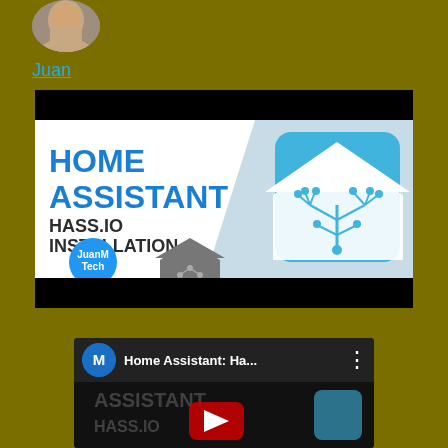[Figure (photo): Circular profile picture of a person at the top left]
Juan
[Figure (screenshot): Home Assistant HASS.IO Installation video thumbnail with blue text on white background, Home Assistant logo (house with circuit tree), JuanM Tech badge, and HASS.IO logo]
[Figure (screenshot): YouTube video player embed showing Home Assistant: Ha... with JuanM Tech channel icon (blue M logo) and three-dot menu, with partial video thumbnail visible]